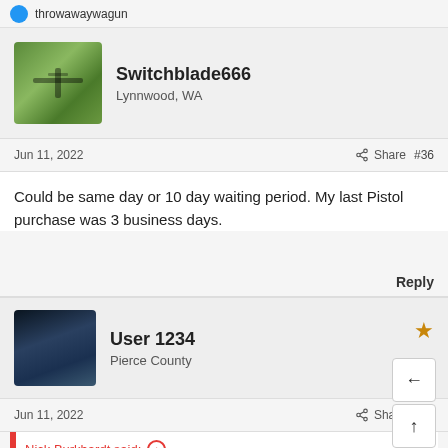throwawaywagun
Switchblade666
Lynnwood, WA
Jun 11, 2022   Share   #36
Could be same day or 10 day waiting period. My last Pistol purchase was 3 business days.
Reply
User 1234
Pierce County
Jun 11, 2022   Share   #37
Nick Burkhardt said: ↑
I looked up RCW 9.41.113 and see that the ten business day waiting period is only for so called "Assault Rifles" and not pistols.